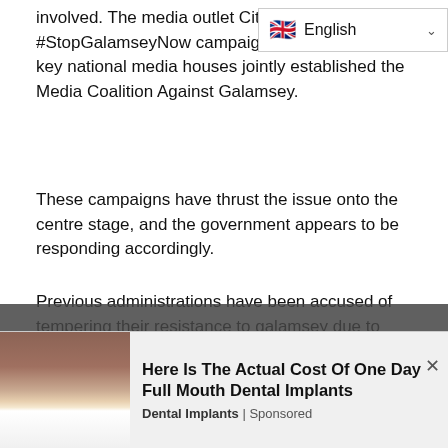involved. The media outlet Citi FM launched the #StopGalamseyNow campaign this April, while key national media houses jointly established the Media Coalition Against Galamsey.
These campaigns have thrust the issue onto the centre stage, and the government appears to be responding accordingly.
Previous administrations have been accused of tempering their resistance to galamsey due to China's heavy investment in the country. But the current administration seems to be avoiding this pitfall.
Following arrests of illegal miners last month, Chinese officials asked the government to release them.
[Figure (other): Advertisement banner: photo of a mouth with teeth on the left, text 'Here Is The Actual Cost Of One Day Full Mouth Dental Implants' with 'Dental Implants | Sponsored' below, and a close (×) button.]